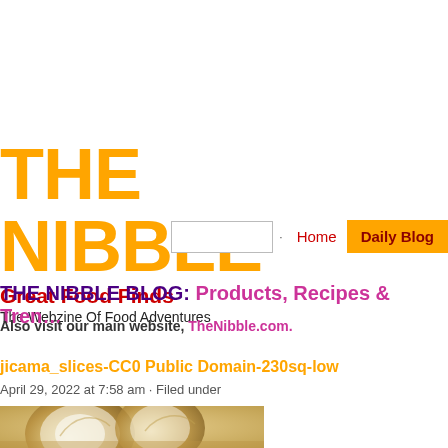THE NIBBLE
Great Food Finds
The Webzine Of Food Adventures
Home  Daily Blog
THE NIBBLE BLOG: Products, Recipes & Tren...
Also visit our main website, TheNibble.com.
jicama_slices-CC0 Public Domain-230sq-low
April 29, 2022 at 7:58 am · Filed under
[Figure (photo): Close-up photo of jicama slices, showing the round pale beige/cream colored vegetable]